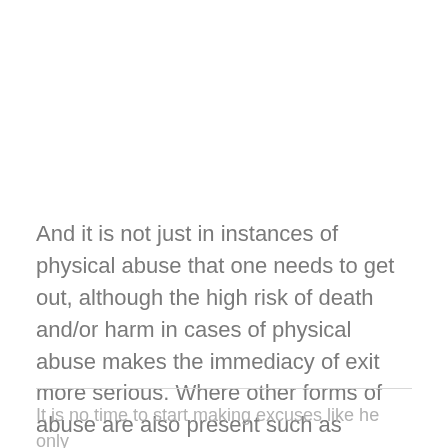And it is not just in instances of physical abuse that one needs to get out, although the high risk of death and/or harm in cases of physical abuse makes the immediacy of exit more serious. Where other forms of abuse are also present such as emotional and psychological abuse, it is also to bow out of the marriage.
It is no time to start making excuses like he only